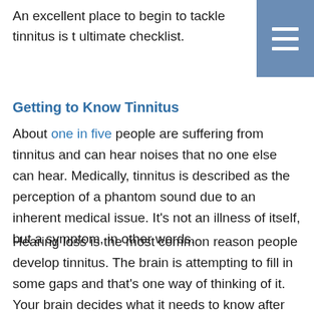An excellent place to begin to tackle tinnitus is t ultimate checklist.
[Figure (other): Blue hamburger menu button with three white horizontal lines]
Getting to Know Tinnitus
About one in five people are suffering from tinnitus and can hear noises that no one else can hear. Medically, tinnitus is described as the perception of a phantom sound due to an inherent medical issue. It’s not an illness of itself, but a symptom, in other words.
Hearing loss is the most common reason people develop tinnitus. The brain is attempting to fill in some gaps and that’s one way of thinking of it. Your brain decides what it needs to know after interpreting the sound it hears. As an example, your friend talking to you is only sound waves until the